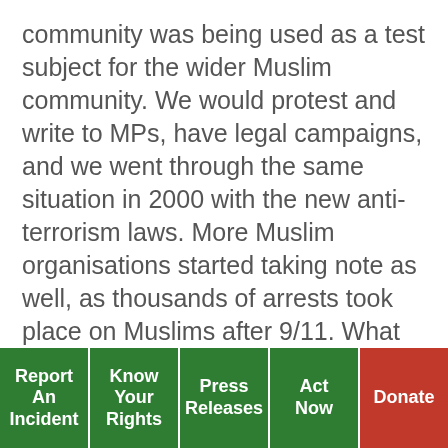community was being used as a test subject for the wider Muslim community. We would protest and write to MPs, have legal campaigns, and we went through the same situation in 2000 with the new anti-terrorism laws. More Muslim organisations started taking note as well, as thousands of arrests took place on Muslims after 9/11. What we saw from these protests was to try to show that we could be the perfect citizen and therefore we will be accepted. But this was slightly naive and failed. We gave out cards to ‘Know Your Rights’ of how to react if you are stopped, the governments responded by doing their own know your rights
Report An Incident | Know Your Rights | Press Releases | Act Now | Donate